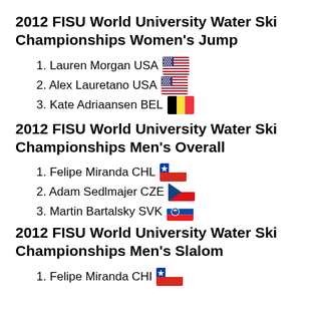2012 FISU World University Water Ski Championships Women's Jump
1. Lauren Morgan USA 🇺🇸
2. Alex Lauretano USA 🇺🇸
3. Kate Adriaansen BEL 🇧🇪
2012 FISU World University Water Ski Championships Men's Overall
1. Felipe Miranda CHL 🇨🇱
2. Adam Sedlmajer CZE 🇨🇿
3. Martin Bartalsky SVK 🇸🇰
2012 FISU World University Water Ski Championships Men's Slalom
1. Felipe Miranda CHI 🇨🇱